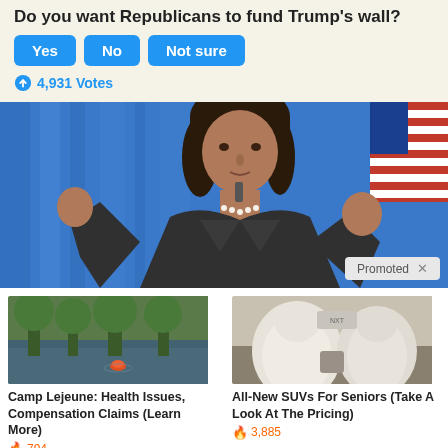Do you want Republicans to fund Trump's wall?
Yes
No
Not sure
4,931 Votes
[Figure (photo): A woman in a dark suit with pearl necklace speaking in front of a blue curtain and an American flag, with microphones visible]
Promoted X
[Figure (photo): Flooded area with a small orange object visible in water among trees]
Camp Lejeune: Health Issues, Compensation Claims (Learn More)
794
[Figure (photo): Interior of a futuristic vehicle showing white/cream colored seats and interior design]
All-New SUVs For Seniors (Take A Look At The Pricing)
3,885